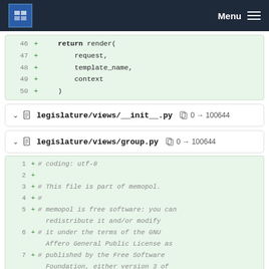Menu
[Figure (screenshot): Code diff showing lines 46-50 with return render( request, template_name, context )]
legislature/views/__init__.py  0 → 100644
legislature/views/group.py  0 → 100644
[Figure (screenshot): Code diff showing lines 1-7 with coding comment, This file is part of memopol, memopol is free software license header]